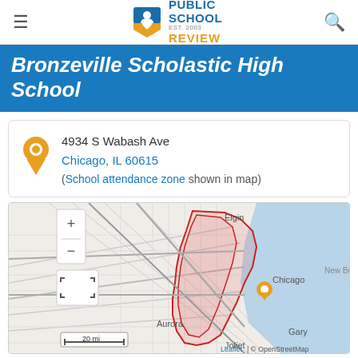Public School Review EST. 2003
Bronzeville Scholastic High School
4934 S Wabash Ave
Chicago, IL 60615
(School attendance zone shown in map)
[Figure (map): Interactive map showing Chicago area with school location marker at 4934 S Wabash Ave, Chicago IL 60615. Map shows surrounding region including Elgin, Aurora, Joliet, Gary, and New Buffalo. Red highlighted area shows school attendance zone. Map attribution: Leaflet | © OpenStreetMap. Scale shows 20 mi.]
View full size   Get directions